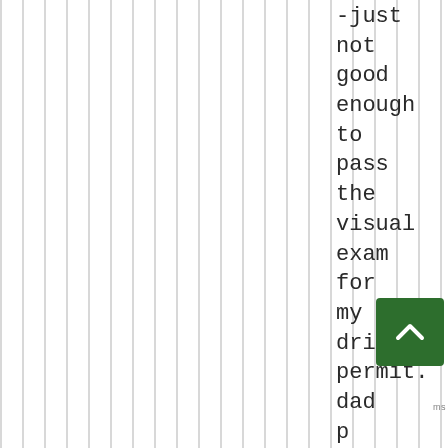[Figure (illustration): Vertical grey and white stripes pattern covering most of the page background]
-just not good enough to pass the visual exam for my driver's permit. dad put a hoop on the garage